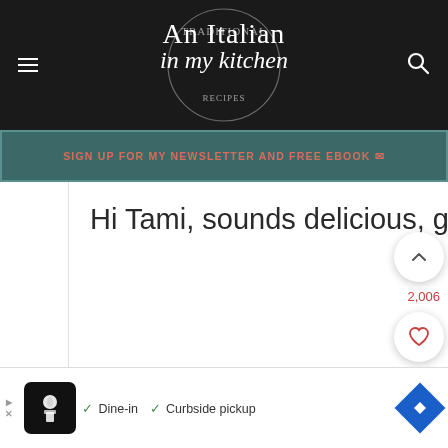[Figure (screenshot): Website header with dark background showing 'An Italian in my Kitchen' logo, hamburger menu icon on left, search icon on right]
SIGN UP FOR MY NEWSLETTER AND FREE EBOOK ✉
Hi Tami, sounds delicious, glad you enjoyed it! Have a great day.
REPLY
[Figure (infographic): Floating action buttons: up arrow, heart icon with count 2,006, and red search icon]
[Figure (screenshot): Advertisement banner at bottom with restaurant icon, checkmarks for Dine-in and Curbside pickup, and blue diamond navigation icon]